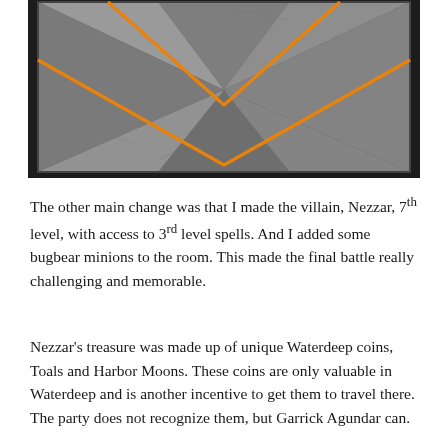[Figure (photo): A photograph of metallic puzzle-like tiles arranged in a rectangular block on a dark background. The tiles are silver/grey metal with an orange geometric diamond/V-shaped line pattern painted or etched across them.]
The other main change was that I made the villain, Nezzar, 7th level, with access to 3rd level spells. And I added some bugbear minions to the room. This made the final battle really challenging and memorable.
Nezzar's treasure was made up of unique Waterdeep coins, Toals and Harbor Moons. These coins are only valuable in Waterdeep and is another incentive to get them to travel there. The party does not recognize them, but Garrick Agundar can.